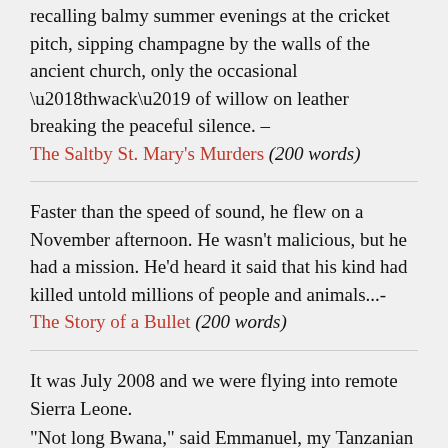recalling balmy summer evenings at the cricket pitch, sipping champagne by the walls of the ancient church, only the occasional ‘thwack’ of willow on leather breaking the peaceful silence. – The Saltby St. Mary’s Murders (200 words)
Faster than the speed of sound, he flew on a November afternoon. He wasn’t malicious, but he had a mission. He’d heard it said that his kind had killed untold millions of people and animals...- The Story of a Bullet (200 words)
It was July 2008 and we were flying into remote Sierra Leone.
“Not long Bwana,” said Emmanuel, my Tanzanian pilot.
“OK Mani. D’you know the area?”
“Yes. It’s dangerous.”
Ten long years of civil war; Everywhere was